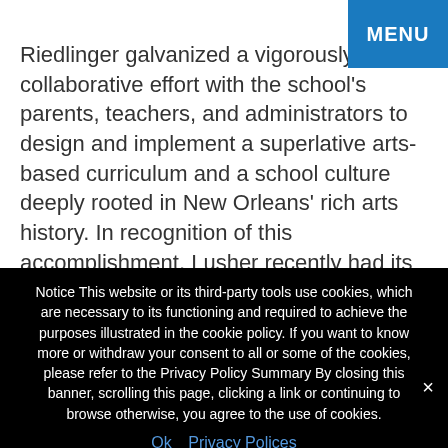MENU
Riedlinger galvanized a vigorously collaborative effort with the school's parents, teachers, and administrators to design and implement a superlative arts-based curriculum and a school culture deeply rooted in New Orleans' rich arts history. In recognition of this accomplishment, Lusher recently had its designation as an exemplary school renewed by the Arts School Network.
Notice This website or its third-party tools use cookies, which are necessary to its functioning and required to achieve the purposes illustrated in the cookie policy. If you want to know more or withdraw your consent to all or some of the cookies, please refer to the Privacy Policy Summary By closing this banner, scrolling this page, clicking a link or continuing to browse otherwise, you agree to the use of cookies.
Ok   Privacy Polices